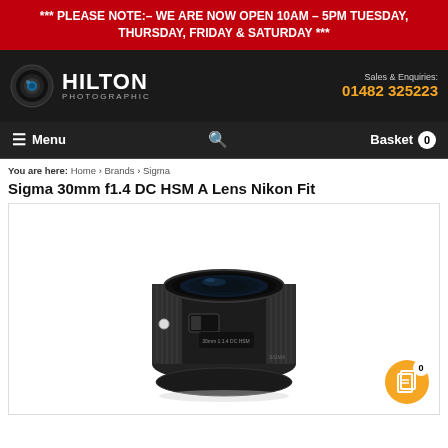*** PLEASE NOTE:– WE ARE NOW OPEN 10AM – 5PM TUESDAY, THURSDAY, FRIDAY & SATURDAY ***
[Figure (logo): Hilton Photographic logo with camera lens icon, white text on dark background, and contact details: Sales & Enquiries: 01482 325223]
[Figure (screenshot): Navigation bar with hamburger Menu icon, search magnifying glass icon, and Basket with 0 count badge]
You are here: Home > Brands > Sigma
Sigma 30mm f1.4 DC HSM A Lens Nikon Fit
[Figure (photo): Sigma 30mm f1.4 DC HSM A Lens for Nikon fit, black lens photographed from front-side angle on white background]